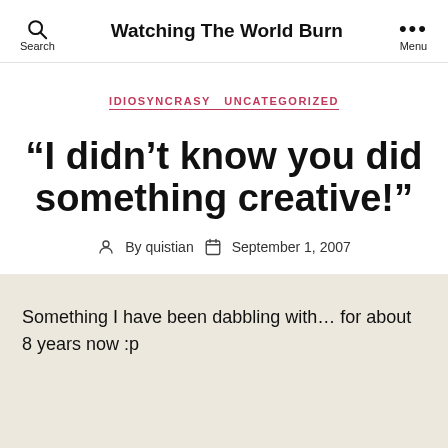Watching The World Burn
IDIOSYNCRASY  UNCATEGORIZED
“I didn’t know you did something creative!”
By quistian  September 1, 2007
Something I have been dabbling with… for about 8 years now :p